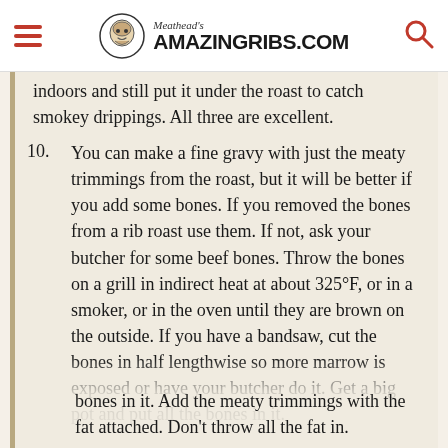Meathead's AmazingRibs.com
indoors and still put it under the roast to catch smokey drippings. All three are excellent.
10. You can make a fine gravy with just the meaty trimmings from the roast, but it will be better if you add some bones. If you removed the bones from a rib roast use them. If not, ask your butcher for some beef bones. Throw the bones on a grill in indirect heat at about 325°F, or in a smoker, or in the oven until they are brown on the outside. If you have a bandsaw, cut the bones in half lengthwise so more marrow is exposed or have your butcher do it. Get a big pot and put all the bones in it. Add the meaty trimmings with the fat attached. Don't throw all the fat in.